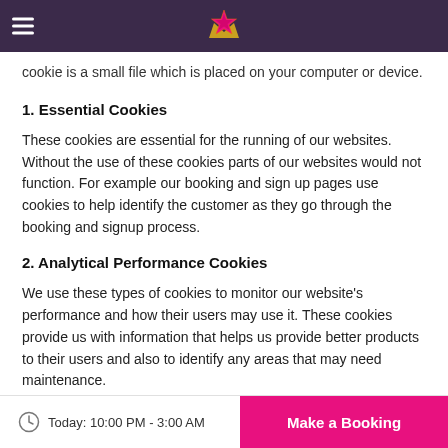[hamburger menu] [logo]
cookie is a small file which is placed on your computer or device.
1. Essential Cookies
These cookies are essential for the running of our websites. Without the use of these cookies parts of our websites would not function. For example our booking and sign up pages use cookies to help identify the customer as they go through the booking and signup process.
2. Analytical Performance Cookies
We use these types of cookies to monitor our website's performance and how their users may use it. These cookies provide us with information that helps us provide better products to their users and also to identify any areas that may need maintenance.
Today: 10:00 PM - 3:00 AM   Make a Booking